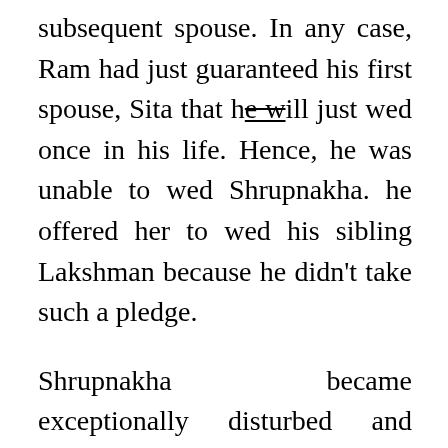subsequent spouse. In any case, Ram had just guaranteed his first spouse, Sita that he will just wed once in his life. Hence, he was unable to wed Shrupnakha. he offered her to wed his sibling Lakshman because he didn't take such a pledge.
Shrupnakha became exceptionally disturbed and chose to slaughter his first spouse, Sita so now he could have just a single wife that is her. When she got her weapon, Laxman tossed a blade at her. The blade cut Shrupnakha's nose and her nose began dying. She began looking